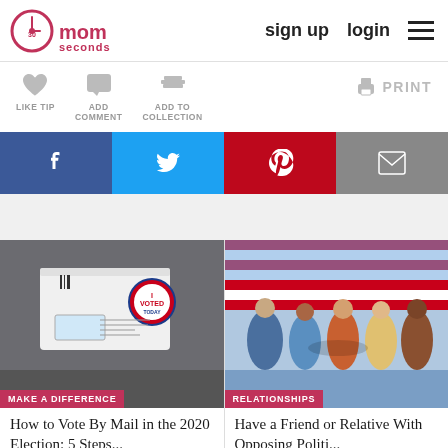30seconds mom | sign up | login
[Figure (infographic): Action icons: Like Tip (heart), Add Comment (speech bubble), Add To Collection (layers), and Print button]
[Figure (infographic): Social share buttons: Facebook (dark blue), Twitter (light blue), Pinterest (red), Email (grey)]
[Figure (photo): Mail-in ballot envelope with 'I Voted Today' sticker on grey background]
MAKE A DIFFERENCE
How to Vote By Mail in the 2020 Election: 5 Steps...
[Figure (photo): Group of diverse women joining hands in front of American flag]
RELATIONSHIPS
Have a Friend or Relative With Opposing Politi...